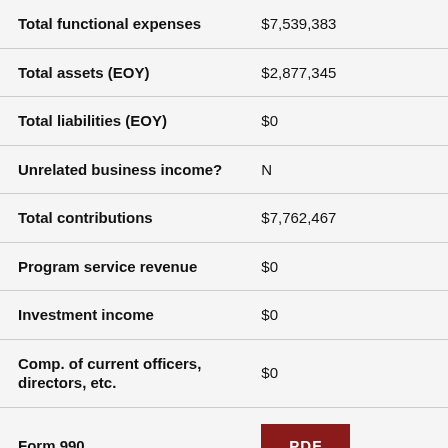| Field | Value |
| --- | --- |
| Total functional expenses | $7,539,383 |
| Total assets (EOY) | $2,877,345 |
| Total liabilities (EOY) | $0 |
| Unrelated business income? | N |
| Total contributions | $7,762,467 |
| Program service revenue | $0 |
| Investment income | $0 |
| Comp. of current officers, directors, etc. | $0 |
| Form 990 | PDF |